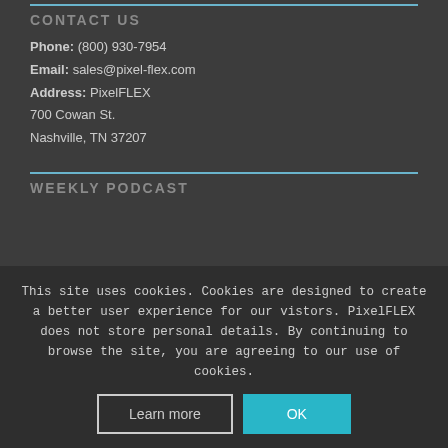CONTACT US
Phone: (800) 930-7954
Email: sales@pixel-flex.com
Address: PixelFLEX
700 Cowan St.
Nashville, TN 37207
WEEKLY PODCAST
This site uses cookies. Cookies are designed to create a better user experience for our vistors. PixelFLEX does not store personal details. By continuing to browse the site, you are agreeing to our use of cookies.
Learn more | OK